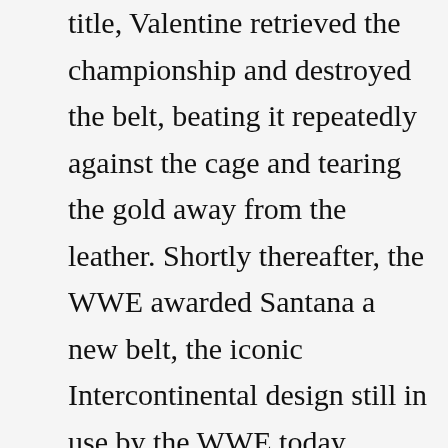title, Valentine retrieved the championship and destroyed the belt, beating it repeatedly against the cage and tearing the gold away from the leather. Shortly thereafter, the WWE awarded Santana a new belt, the iconic Intercontinental design still in use by the WWE today.

"I had to give the belt back to Tito after that angle," Valentine said. "And one day when I saw him a few years ago, I asked whatever became of that belt, because Tito kept it after that angle. What he responded with